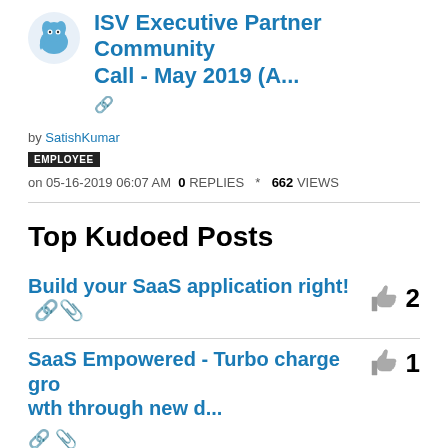ISV Executive Partner Community Call - May 2019 (A...
by SatishKumar
EMPLOYEE
on 05-16-2019 06:07 AM 0 REPLIES * 662 VIEWS
Top Kudoed Posts
Build your SaaS application right! 2
SaaS Empowered - Turbo charge growth through new d... 1
View All